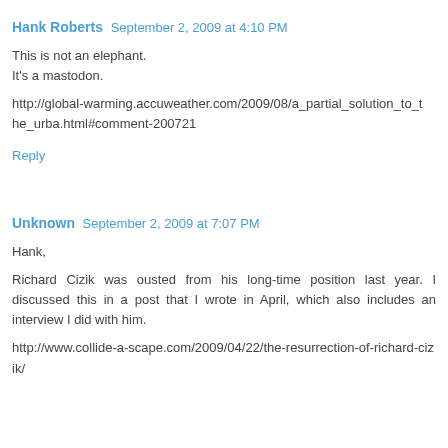Hank Roberts  September 2, 2009 at 4:10 PM
This is not an elephant.
It's a mastodon.

http://global-warming.accuweather.com/2009/08/a_partial_solution_to_the_urba.html#comment-200721
Reply
Unknown  September 2, 2009 at 7:07 PM
Hank,

Richard Cizik was ousted from his long-time position last year. I discussed this in a post that I wrote in April, which also includes an interview I did with him.

http://www.collide-a-scape.com/2009/04/22/the-resurrection-of-richard-cizik/